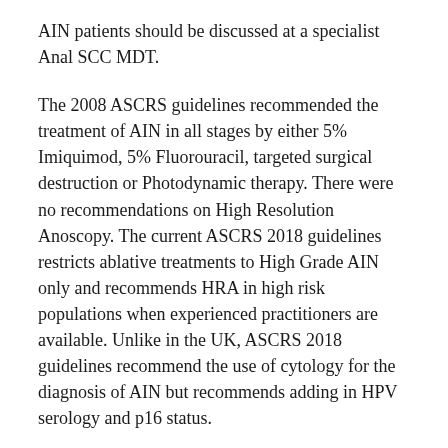AIN patients should be discussed at a specialist Anal SCC MDT.
The 2008 ASCRS guidelines recommended the treatment of AIN in all stages by either 5% Imiquimod, 5% Fluorouracil, targeted surgical destruction or Photodynamic therapy. There were no recommendations on High Resolution Anoscopy. The current ASCRS 2018 guidelines restricts ablative treatments to High Grade AIN only and recommends HRA in high risk populations when experienced practitioners are available. Unlike in the UK, ASCRS 2018 guidelines recommend the use of cytology for the diagnosis of AIN but recommends adding in HPV serology and p16 status.
Overall,  there are 7 guidelines available for review in the literature, from 5 different countries between 2011 – 2018. Most recommend that screening could be